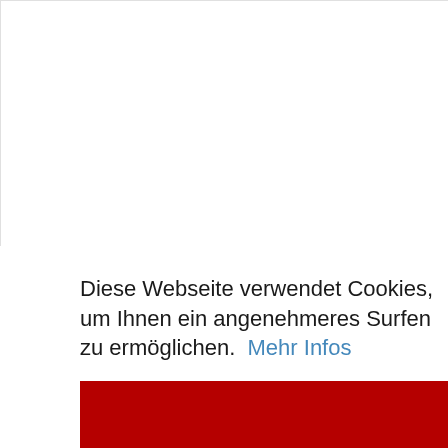1/2
✉
⬇ Hauptbild herunterladen
< Teilen
Losnr. : 5589
Diese Webseite verwendet Cookies, um Ihnen ein angenehmeres Surfen zu ermöglichen.  Mehr Infos
Ok
erladen